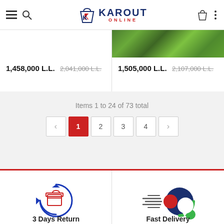Karout Online - navigation header with menu, search, logo, cart, and options icons
[Figure (photo): Green grass image strip visible in upper right product column]
1,458,000 L.L.  2,041,000 L.L.
1,505,000 L.L.  2,107,000 L.L.
Items 1 to 24 of 73 total
Pagination: < 1 2 3 4 >
[Figure (illustration): 3 Days Return icon: a red box with blue circular arrows]
3 Days Return
[Figure (illustration): Fast Delivery icon: a red ball with speed lines and dark blue circle]
Fast Delivery